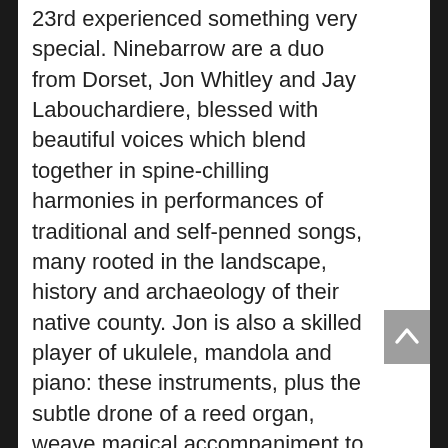23rd experienced something very special. Ninebarrow are a duo from Dorset, Jon Whitley and Jay Labouchardiere, blessed with beautiful voices which blend together in spine-chilling harmonies in performances of traditional and self-penned songs, many rooted in the landscape, history and archaeology of their native county. Jon is also a skilled player of ukulele, mandola and piano: these instruments, plus the subtle drone of a reed organ, weave magical accompaniment to many of their songs. Two of my favourites were Winter King, based on the tradition (now hopefully extinct) of the hunting of the wren on Boxing Day, and Coming Home, writen by Jon's father Bob Whitley, a veteran of the Dorset folk scene and the reason why Jon and Jay became folk musicians and singers. Traditional songs such as Dark-Eyed Sailor, Bold Sir Rilus and a chilling version of Three Ravens were also highlights of their set. Their engaging